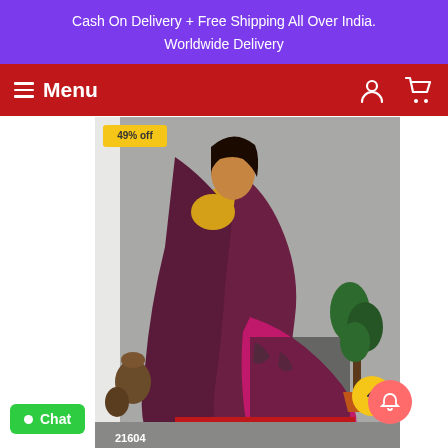Cash On Delivery + Free Shipping All Over India.
Worldwide Delivery
Menu
[Figure (photo): A woman wearing a colorful saree with yellow, maroon/dark purple, magenta/pink, red and blue multicolor design, photographed in front of a grey wall with decorative pottery and plants. Discount badge shows 49% off. Image number 21604 shown at bottom.]
Chat
21604